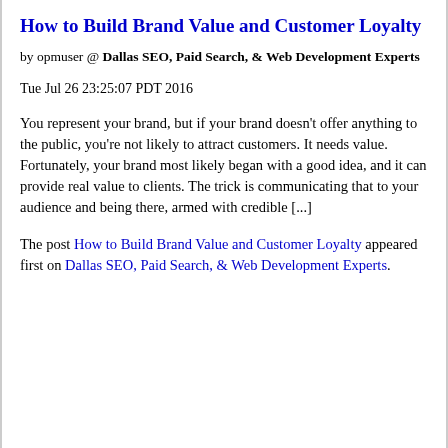How to Build Brand Value and Customer Loyalty
by opmuser @ Dallas SEO, Paid Search, & Web Development Experts
Tue Jul 26 23:25:07 PDT 2016
You represent your brand, but if your brand doesn't offer anything to the public, you're not likely to attract customers. It needs value. Fortunately, your brand most likely began with a good idea, and it can provide real value to clients. The trick is communicating that to your audience and being there, armed with credible [...]
The post How to Build Brand Value and Customer Loyalty appeared first on Dallas SEO, Paid Search, & Web Development Experts.